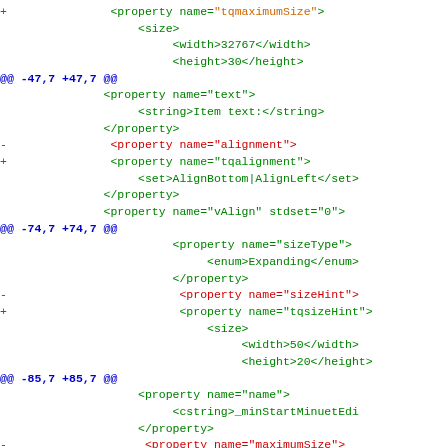diff/patch code showing XML property renames: tqmaximumSize, tqalignment, tqsizeHint, tqmaximumSize
@@ -47,7 +47,7 @@
@@ -74,7 +74,7 @@
@@ -85,7 +85,7 @@